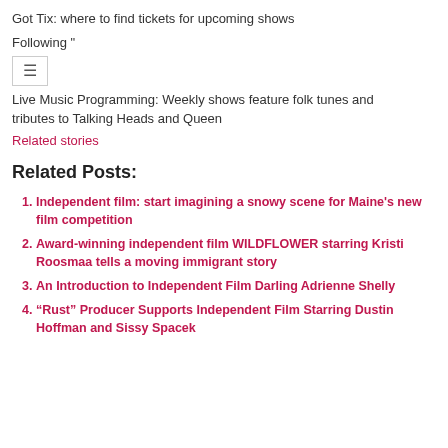Got Tix: where to find tickets for upcoming shows
Following "
[Figure (other): Hamburger menu icon button (three horizontal lines)]
Live Music Programming: Weekly shows feature folk tunes and tributes to Talking Heads and Queen
Related stories
Related Posts:
Independent film: start imagining a snowy scene for Maine's new film competition
Award-winning independent film WILDFLOWER starring Kristi Roosmaa tells a moving immigrant story
An Introduction to Independent Film Darling Adrienne Shelly
“Rust” Producer Supports Independent Film Starring Dustin Hoffman and Sissy Spacek